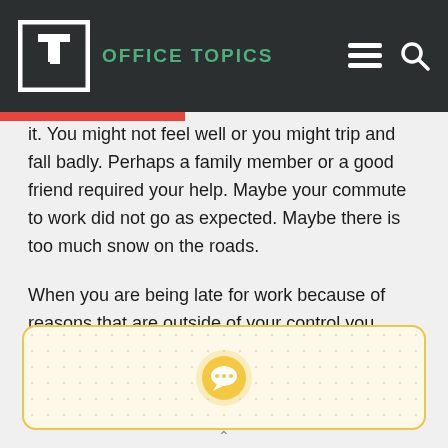OFFICE TOPICS
it. You might not feel well or you might trip and fall badly. Perhaps a family member or a good friend required your help. Maybe your commute to work did not go as expected. Maybe there is too much snow on the roads.
When you are being late for work because of reasons that are outside of your control you should have every expectation to be understood and forgiven by your boss and colleagues.
[Figure (illustration): Callout box with dotted pattern background and a yellow speech bubble / chat icon in the center]